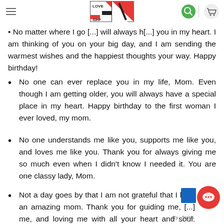LOVE 40HF logo with hamburger menu, search icon, and cart icon
good food, and good [...]
No matter where I go [...] will always h[...] you in my heart. I am thinking of you on your big day, and I am sending the warmest wishes and the happiest thoughts your way. Happy birthday!
No one can ever replace you in my life, Mom. Even though I am getting older, you will always have a special place in my heart. Happy birthday to the first woman I ever loved, my mom.
No one understands me like you, supports me like you, and loves me like you. Thank you for always giving me so much even when I didn't know I needed it. You are one classy lady, Mom.
Not a day goes by that I am not grateful that I h[...] an amazing mom. Thank you for guiding me, [...] me, and loving me with all your heart and soul. May